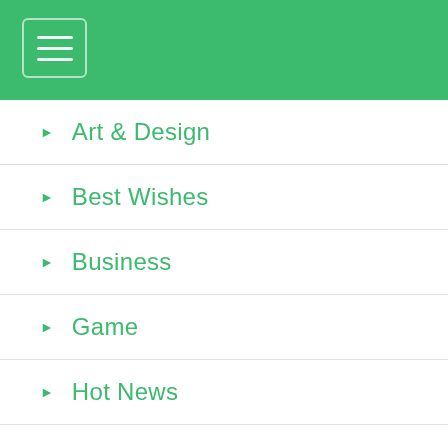Art & Design
Best Wishes
Business
Game
Hot News
Lifestyle
Lyrics Song
Science
Tech